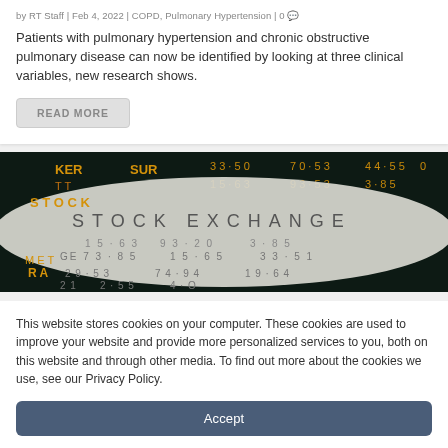by RT Staff | Feb 4, 2022 | COPD, Pulmonary Hypertension | 0
Patients with pulmonary hypertension and chronic obstructive pulmonary disease can now be identified by looking at three clinical variables, new research shows.
READ MORE
[Figure (photo): Stock Exchange ticker board showing yellow numbers and letters on dark background with a curved paper/screen reading STOCK EXCHANGE in the foreground]
This website stores cookies on your computer. These cookies are used to improve your website and provide more personalized services to you, both on this website and through other media. To find out more about the cookies we use, see our Privacy Policy.
Accept